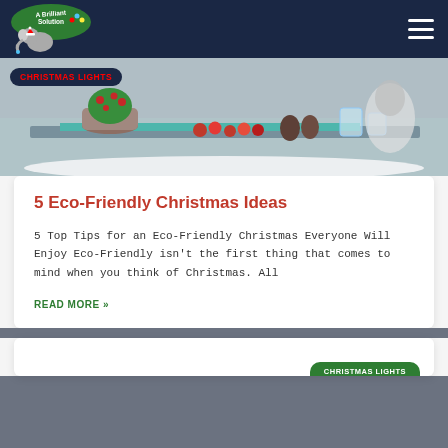A Brilliant Solution — Navigation
[Figure (photo): Christmas holiday table decoration with plants, red berries, pine cones, apples, and glass jars in a snowy outdoor setting. Red badge overlay reading CHRISTMAS LIGHTS.]
5 Eco-Friendly Christmas Ideas
5 Top Tips for an Eco-Friendly Christmas Everyone Will Enjoy Eco-Friendly isn't the first thing that comes to mind when you think of Christmas. All
READ MORE »